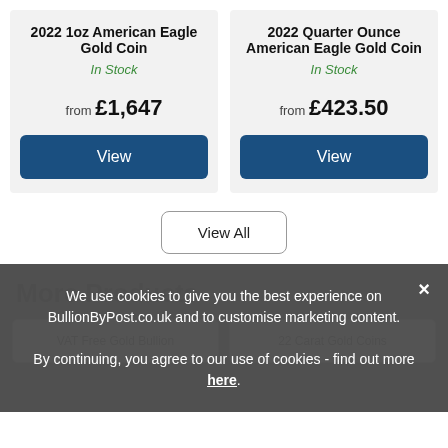2022 1oz American Eagle Gold Coin
In Stock
from £1,647
View
2022 Quarter Ounce American Eagle Gold Coin
In Stock
from £423.50
View
View All
More Products
VAT Free Gold Bullion
22 Carat Gold Coins
We use cookies to give you the best experience on BullionByPost.co.uk and to customise marketing content. By continuing, you agree to our use of cookies - find out more here.